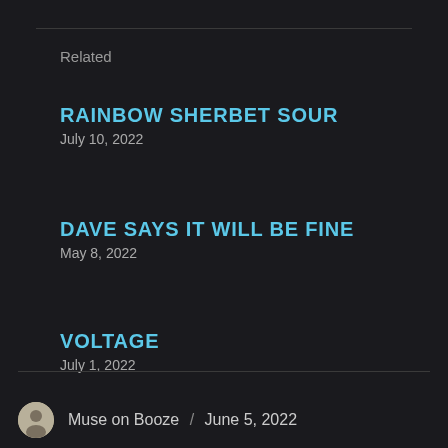Related
RAINBOW SHERBET SOUR
July 10, 2022
DAVE SAYS IT WILL BE FINE
May 8, 2022
VOLTAGE
July 1, 2022
Muse on Booze / June 5, 2022